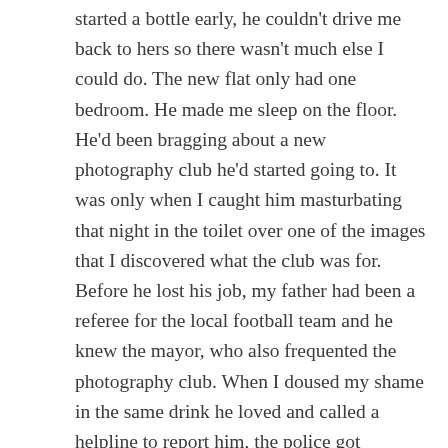started a bottle early, he couldn't drive me back to hers so there wasn't much else I could do. The new flat only had one bedroom. He made me sleep on the floor. He'd been bragging about a new photography club he'd started going to. It was only when I caught him masturbating that night in the toilet over one of the images that I discovered what the club was for. Before he lost his job, my father had been a referee for the local football team and he knew the mayor, who also frequented the photography club. When I doused my shame in the same drink he loved and called a helpline to report him, the police got involved, but it was him they believed not me. Bastard mayor stuck up for them both. Threatened me with institution time. I shut up and lay low.